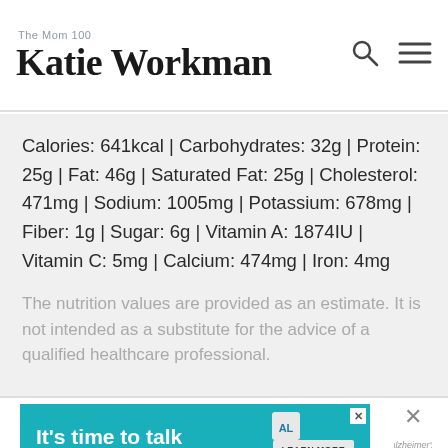The Mom 100 Katie Workman
Calories: 641kcal | Carbohydrates: 32g | Protein: 25g | Fat: 46g | Saturated Fat: 25g | Cholesterol: 471mg | Sodium: 1005mg | Potassium: 678mg | Fiber: 1g | Sugar: 6g | Vitamin A: 1874IU | Vitamin C: 5mg | Calcium: 474mg | Iron: 4mg
The nutrition values are provided as an estimate. It is not intended as a substitute for the advice of a qualified healthcare professional.
[Figure (infographic): Advertisement banner: 'It's time to talk about Alzheimer's.' with a Learn More button and Alzheimer's Association logo. Close (X) button in corner.]